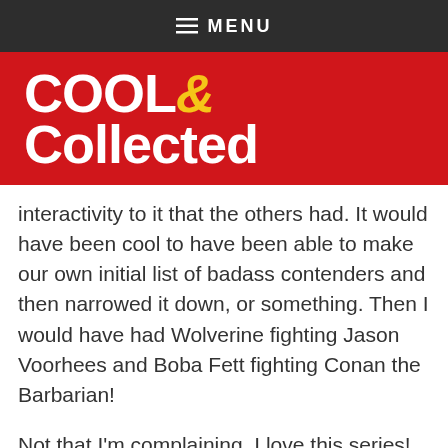≡ MENU
[Figure (logo): Cool & Collected logo — white bold text on red background]
interactivity to it that the others had. It would have been cool to have been able to make our own initial list of badass contenders and then narrowed it down, or something. Then I would have had Wolverine fighting Jason Voorhees and Boba Fett fighting Conan the Barbarian!
Not that I'm complaining. I love this series! Count me in for the next one and I'll still